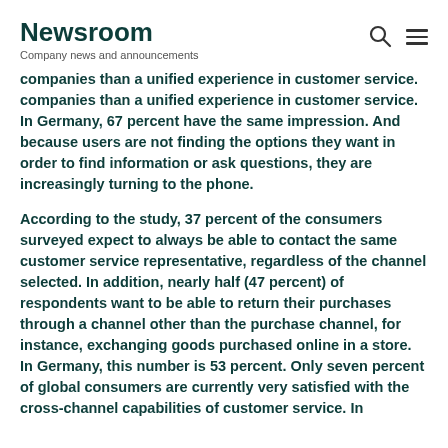Newsroom
Company news and announcements
companies than a unified experience in customer service. In Germany, 67 percent have the same impression. And because users are not finding the options they want in order to find information or ask questions, they are increasingly turning to the phone.
According to the study, 37 percent of the consumers surveyed expect to always be able to contact the same customer service representative, regardless of the channel selected. In addition, nearly half (47 percent) of respondents want to be able to return their purchases through a channel other than the purchase channel, for instance, exchanging goods purchased online in a store. In Germany, this number is 53 percent. Only seven percent of global consumers are currently very satisfied with the cross-channel capabilities of customer service. In